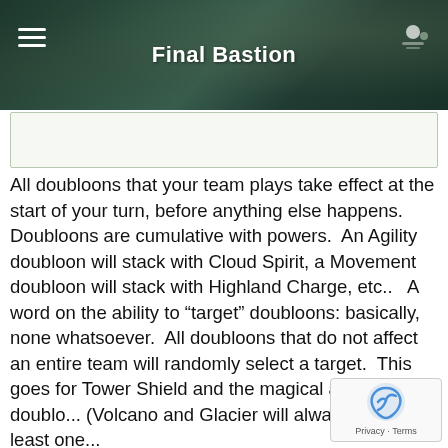Final Bastion
[Figure (other): Empty content placeholder box with light green border and background]
All doubloons that your team plays take effect at the start of your turn, before anything else happens.  Doubloons are cumulative with powers.  An Agility doubloon will stack with Cloud Spirit, a Movement doubloon will stack with Highland Charge, etc..   A word on the ability to “target” doubloons: basically, none whatsoever.  All doubloons that do not affect an entire team will randomly select a target.  This goes for Tower Shield and the magical attack doublo... (Volcano and Glacier will always hit at least one...